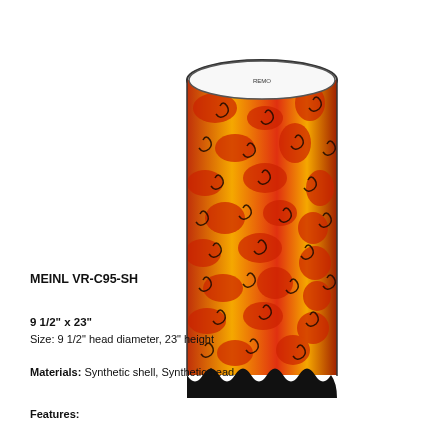[Figure (photo): A cylindrical drum (Meinl VR-C95-SH) with a red and yellow tie-dye pattern covered in black spiral designs on the shell, a white synthetic drum head on top, and a black scalloped base. The drum is shown in an upright position against a white background.]
MEINL VR-C95-SH
9 1/2" x 23"
Size: 9 1/2" head diameter, 23" height
Materials: Synthetic shell, Synthetic head
Features: